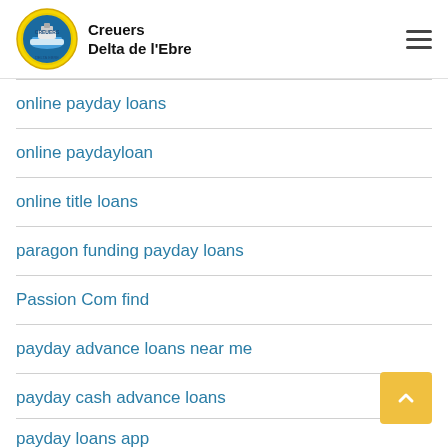Creuers Delta de l'Ebre
online payday loans
online paydayloan
online title loans
paragon funding payday loans
Passion Com find
payday advance loans near me
payday cash advance loans
payday loans app